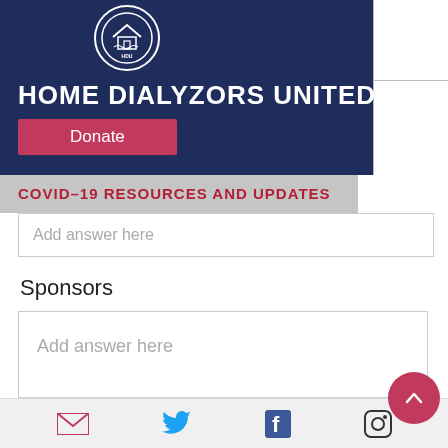[Figure (logo): Home Dialyzors United (HDU) circular logo with house icon in white circle, on dark navy header]
HOME DIALYZORS UNITED
Donate
COVID-19 RESOURCES AND UPDATES
Add answer here
Sponsors
Add answer here
I confirm this is a CKD/ESRD/dialysis related event.*
[Figure (infographic): Social media footer icons: email envelope (pink), Twitter bird (blue), Facebook (blue), Instagram (dark)]